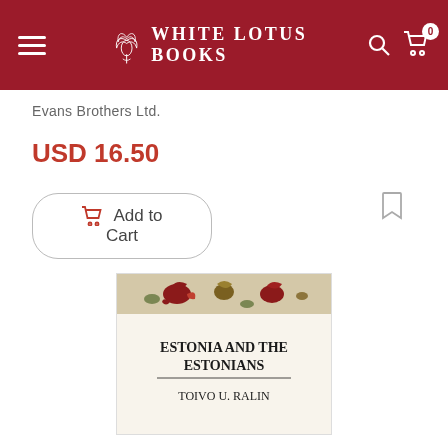White Lotus Books
Evans Brothers Ltd.
USD 16.50
Add to Cart
[Figure (photo): Book cover of 'Estonia and the Estonians' by Toivo U. Ralin, showing decorative folk art border at top and title text below]